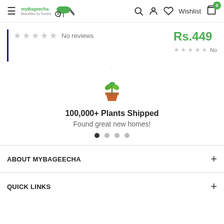myBageecha — Beautified by Greens | Search | Account | Wishlist | Cart 0
No reviews
Rs.449
No
[Figure (illustration): Plant emoji icon: green seedling in orange pot]
100,000+ Plants Shipped
Found great new homes!
Slide dots navigation: 4 dots, first active
ABOUT MYBAGEECHA
QUICK LINKS